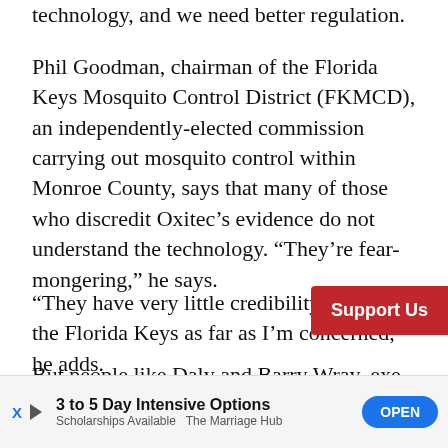technology, and we need better regulation.
Phil Goodman, chairman of the Florida Keys Mosquito Control District (FKMCD), an independently-elected commission carrying out mosquito control within Monroe County, says that many of those who discredit Oxitec’s evidence do not understand the technology. “They’re fear-mongering,” he says.
“They have very little credibility here in the Florida Keys as far as I’m concerned,” he adds.
But people like Daly and Barry Wray, executive director of the Florida Keys Environmental Coalition, disagree. “We want to know it’s safe,” says W…
[Figure (other): Red 'Support Us' button overlay on right side]
[Figure (other): Advertisement bar at bottom: '3 to 5 Day Intensive Options', 'Scholarships Available The Marriage Hub', with OPEN button]